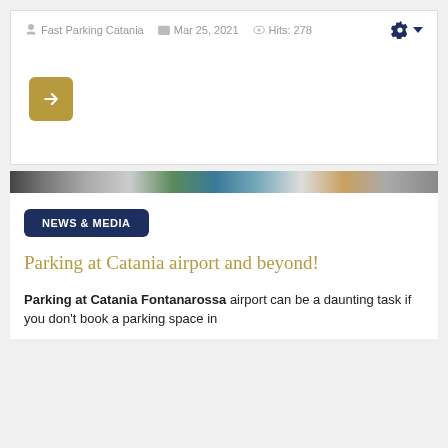Fast Parking Catania  Mar 25, 2021  Hits: 278
[Figure (other): Gold rounded square button with right-arrow icon]
[Figure (photo): Horizontal banner strip showing partial airport/travel imagery in greyscale and color]
NEWS & MEDIA
Parking at Catania airport and beyond!
Parking at Catania Fontanarossa airport can be a daunting task if you don't book a parking space in